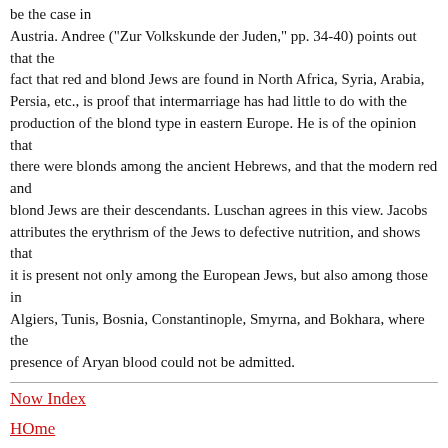be the case in Austria. Andree ("Zur Volkskunde der Juden," pp. 34-40) points out that the fact that red and blond Jews are found in North Africa, Syria, Arabia, Persia, etc., is proof that intermarriage has had little to do with the production of the blond type in eastern Europe. He is of the opinion that there were blonds among the ancient Hebrews, and that the modern red and blond Jews are their descendants. Luschan agrees in this view. Jacobs attributes the erythrism of the Jews to defective nutrition, and shows that it is present not only among the European Jews, but also among those in Algiers, Tunis, Bosnia, Constantinople, Smyrna, and Bokhara, where the presence of Aryan blood could not be admitted.
Now Index
HOme